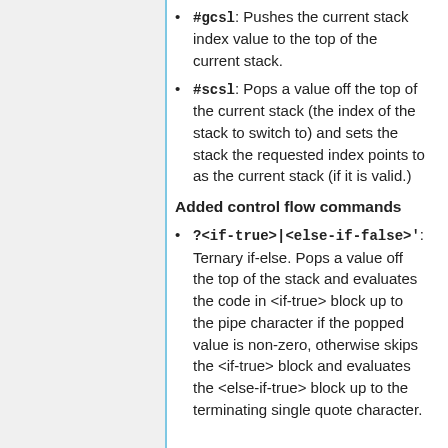#gcsl: Pushes the current stack index value to the top of the current stack.
#scsl: Pops a value off the top of the current stack (the index of the stack to switch to) and sets the stack the requested index points to as the current stack (if it is valid.)
Added control flow commands
?<if-true>|<else-if-false>': Ternary if-else. Pops a value off the top of the stack and evaluates the code in <if-true> block up to the pipe character if the popped value is non-zero, otherwise skips the <if-true> block and evaluates the <else-if-true> block up to the terminating single quote character.